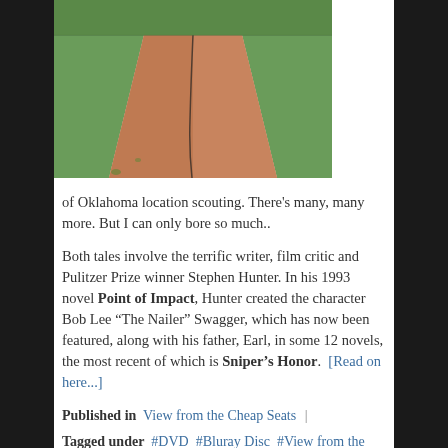[Figure (photo): A cracked Oklahoma road stretching into the distance with green grass on either side, perspective view]
of Oklahoma location scouting. There's many, many more. But I can only bore so much..
Both tales involve the terrific writer, film critic and Pulitzer Prize winner Stephen Hunter. In his 1993 novel Point of Impact, Hunter created the character Bob Lee “The Nailer” Swagger, which has now been featured, along with his father, Earl, in some 12 novels, the most recent of which is Sniper’s Honor.  [Read on here...]
Published in  View from the Cheap Seats  |
Tagged under  #DVD  #Bluray Disc  #View from the Cheap Seats  #Bud Elder  #Twilight Time  #Warner Archive  #The Digital Bits  #Point of Impact  #Shooter